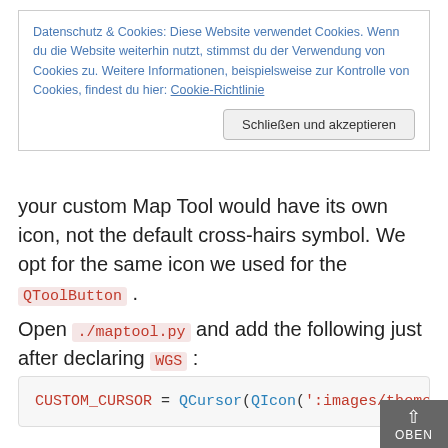Datenschutz & Cookies: Diese Website verwendet Cookies. Wenn du die Website weiterhin nutzt, stimmst du der Verwendung von Cookies zu. Weitere Informationen, beispielsweise zur Kontrolle von Cookies, findest du hier: Cookie-Richtlinie
Schließen und akzeptieren
your custom Map Tool would have its own icon, not the default cross-hairs symbol. We opt for the same icon we used for the QToolButton .
Open ./maptool.py and add the following just after declaring WGS :
CUSTOM_CURSOR = QCursor(QIcon(':images/themes
We have to do a little bit of a roundabout here: QCursor only accepts a QPixMap , so our QGIS